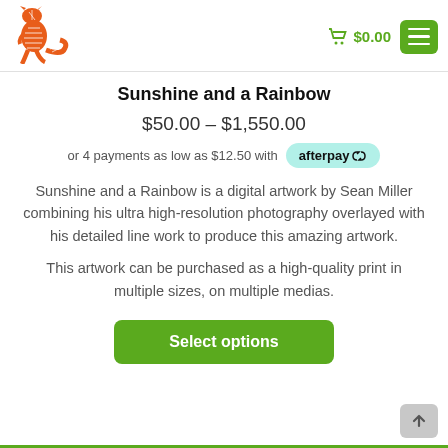[Figure (logo): Orange kangaroo logo with decorative line art patterns]
$0.00
Sunshine and a Rainbow
$50.00 – $1,550.00
or 4 payments as low as $12.50 with afterpay
Sunshine and a Rainbow is a digital artwork by Sean Miller combining his ultra high-resolution photography overlayed with his detailed line work to produce this amazing artwork.
This artwork can be purchased as a high-quality print in multiple sizes, on multiple medias.
Select options